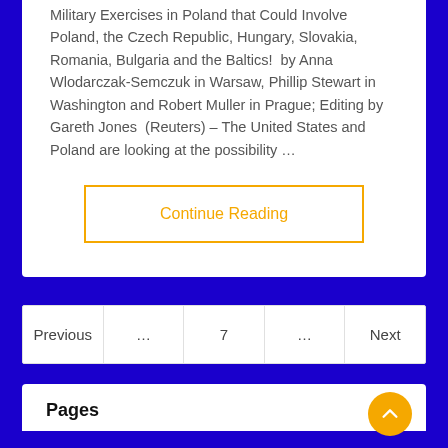Military Exercises in Poland that Could Involve Poland, the Czech Republic, Hungary, Slovakia, Romania, Bulgaria and the Baltics!  by Anna Wlodarczak-Semczuk in Warsaw, Phillip Stewart in Washington and Robert Muller in Prague; Editing by Gareth Jones  (Reuters) – The United States and Poland are looking at the possibility …
Continue Reading
Previous … 7 … Next
Pages